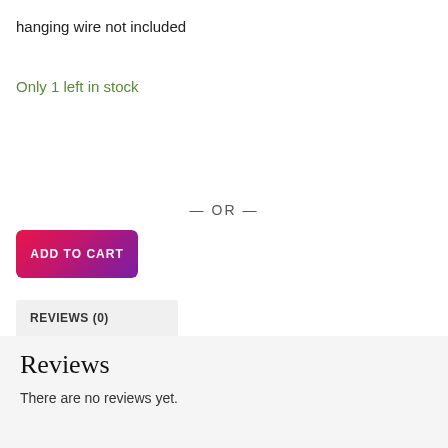hanging wire not included
Only 1 left in stock
— OR —
[Figure (other): ADD TO CART button with pink-to-purple gradient background and white bold text]
REVIEWS (0)
Reviews
There are no reviews yet.